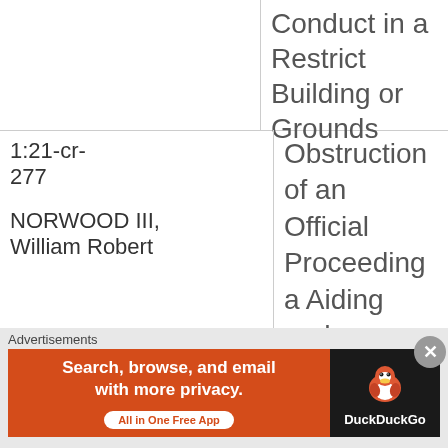|  | Conduct in a Restrict Building or Grounds |
| 1:21-cr-
277
NORWOOD III, William Robert | Obstruction of an Official Proceeding a Aiding and Abetting; Theft of Government Propert Entering and Remaining in a Restricted Building o Grounds; Disorderly and Disruptive Conduct in a Restric |
Advertisements
[Figure (other): DuckDuckGo advertisement banner: orange left panel with text 'Search, browse, and email with more privacy. All in One Free App' and dark right panel with DuckDuckGo duck logo and brand name.]